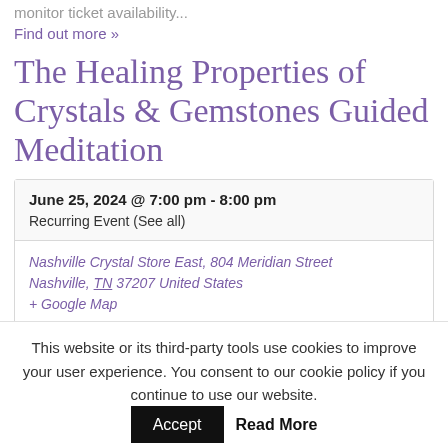monitor ticket availability...
Find out more »
The Healing Properties of Crystals & Gemstones Guided Meditation
June 25, 2024 @ 7:00 pm - 8:00 pm
Recurring Event (See all)
Nashville Crystal Store East, 804 Meridian Street Nashville, TN 37207 United States + Google Map
This website or its third-party tools use cookies to improve your user experience. You consent to our cookie policy if you continue to use our website.